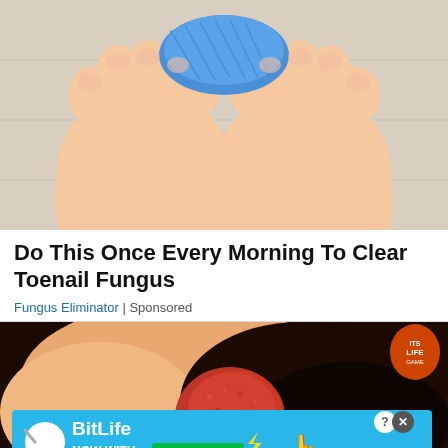[Figure (photo): Close-up photo of two human feet from above, with blue bandage/wrap around the big toes area, on a light wooden surface]
Do This Once Every Morning To Clear Toenail Fungus
Fungus Eliminator | Sponsored
[Figure (photo): Close-up photo of a foot/toenail with a red inflamed or infected-looking toenail area against dark background, with BitLife GOD MODE advertisement banner overlay]